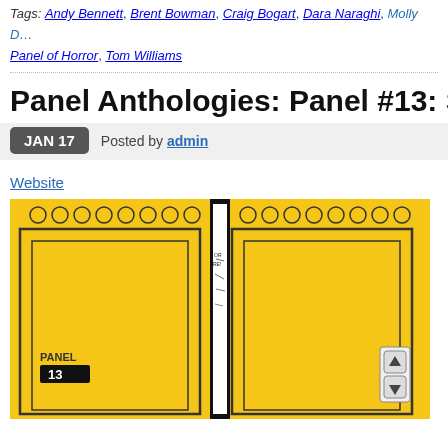Tags: Andy Bennett, Brent Bowman, Craig Bogart, Dara Naraghi, Molly D…, Panel of Horror, Tom Williams
Panel Anthologies: Panel #13: Superstit…
JAN 17  Posted by admin
Website
[Figure (illustration): Comic book cover for Panel #13 designed as an elevator with yellow doors partially open, revealing a black-and-white comic illustration inside. The left door panel shows 'PANEL 13' text with a dark rectangle logo. The right door panel has elevator up/down buttons. Yellow circles are visible at the top of both doors.]